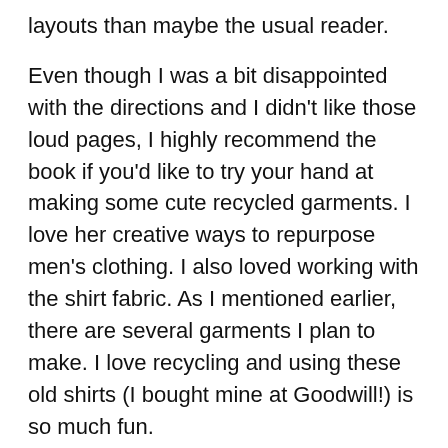layouts than maybe the usual reader.
Even though I was a bit disappointed with the directions and I didn't like those loud pages, I highly recommend the book if you'd like to try your hand at making some cute recycled garments. I love her creative ways to repurpose men's clothing. I also loved working with the shirt fabric. As I mentioned earlier, there are several garments I plan to make. I love recycling and using these old shirts (I bought mine at Goodwill!) is so much fun.
Cut-Up Couture includes 112 pages and can be purchased at your favorite bookstore or through Interweave for $19.95.
Disclaimer: I received this book from the publisher